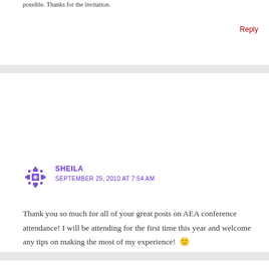possible. Thanks for the invitation.
Reply
SHEILA
SEPTEMBER 25, 2010 AT 7:54 AM
Thank you so much for all of your great posts on AEA conference attendance! I will be attending for the first time this year and welcome any tips on making the most of my experience! 🙂
Reply